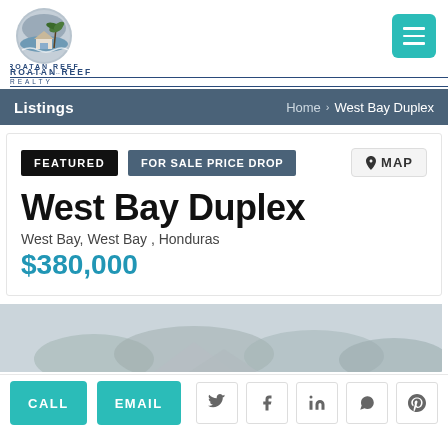[Figure (logo): Roatan Reef Realty logo — circular emblem with palm tree and house over water, text ROATAN REEF REALTY below]
Listings  Home > West Bay Duplex
FEATURED  FOR SALE PRICE DROP  MAP
West Bay Duplex
West Bay, West Bay , Honduras
$380,000
[Figure (photo): Partial photo of property exterior, muted grey-green tones showing trees and roofline]
CALL  EMAIL  [Twitter] [Facebook] [LinkedIn] [WhatsApp] [Pinterest]